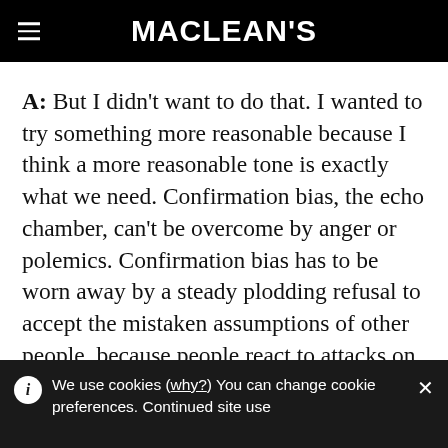MACLEAN'S
A: But I didn't want to do that. I wanted to try something more reasonable because I think a more reasonable tone is exactly what we need. Confirmation bias, the echo chamber, can't be overcome by anger or polemics. Confirmation bias has to be worn away by a steady plodding refusal to accept the mistaken assumptions of other people, because people react to attacks on their confirmation bias by doubling down. You
We use cookies (why?) You can change cookie preferences. Continued site use